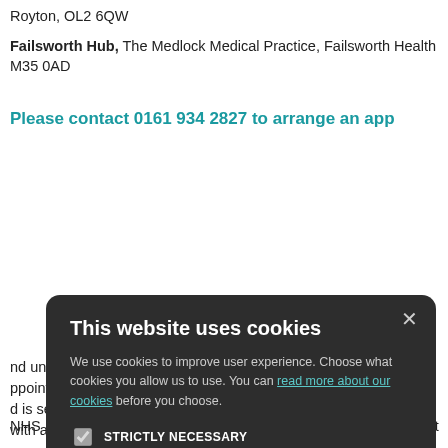Royton, OL2 6QW
Failsworth Hub, The Medlock Medical Practice, Failsworth Health M35 0AD
Please contact 0161 934 2827 to arrange an app
[Figure (screenshot): Cookie consent dialog box on dark background with title 'This website uses cookies', description text with link 'read more about our cookies', checkboxes for STRICTLY NECESSARY (checked), PERFORMANCE, TARGETING, FUNCTIONALITY, and two buttons: ACCEPT ALL and DECLINE ALL, with a close X button.]
nd under, is to offer appointment with a G d is seen on the sam with a GP of choice
ilments and this will
ll of the out-of-hours ome disadvantage co ergies and medicati ng an urgent appoint
NHS 111 is the new three-digit telephone service that has being int